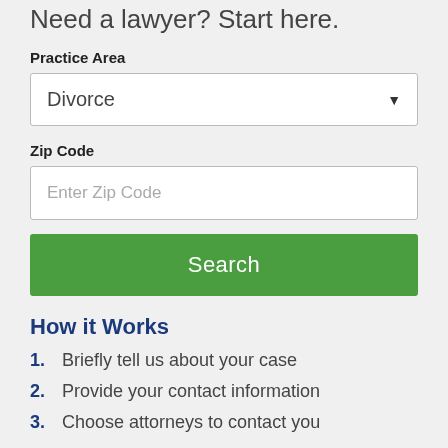Need a lawyer? Start here.
Practice Area
Divorce
Zip Code
Enter Zip Code
Search
How it Works
Briefly tell us about your case
Provide your contact information
Choose attorneys to contact you